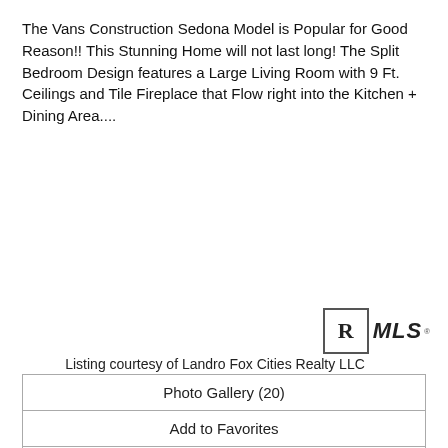The Vans Construction Sedona Model is Popular for Good Reason!! This Stunning Home will not last long! The Split Bedroom Design features a Large Living Room with 9 Ft. Ceilings and Tile Fireplace that Flow right into the Kitchen + Dining Area....
[Figure (logo): Realtor MLS logo — box with R and MLS text]
Listing courtesy of Landro Fox Cities Realty LLC
| Photo Gallery (20) |
| Add to Favorites |
| View Details |
[Figure (photo): Exterior photo of barn-style buildings with blue and red metal roofs against a light sky]